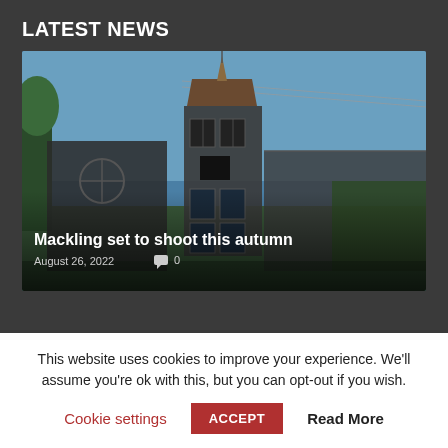LATEST NEWS
[Figure (photo): Photo of an old industrial or Victorian-era building with a multi-paned glass tower structure and corrugated roofing, under a blue sky. Overlaid text: 'Mackling set to shoot this autumn' with date 'August 26, 2022' and comment count '0'.]
This website uses cookies to improve your experience. We'll assume you're ok with this, but you can opt-out if you wish.
Cookie settings   ACCEPT   Read More